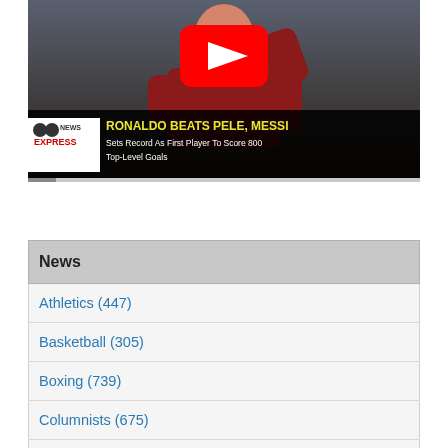[Figure (screenshot): YouTube-style video thumbnail showing Ronaldo in red jersey with play button overlay. Banner reads: RONALDO BEATS PELE, MESSI — Sets Record As First Player To Score 800 Top-Level Goals. News Express logo in bottom-left corner.]
News
Athletics (447)
Basketball (305)
Boxing (739)
Columnists (675)
Euro Soccer Update (13661)
Fans Assembly (6)
From the Comments (69)